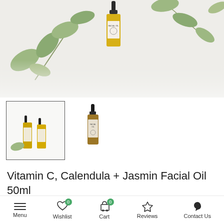[Figure (photo): Hero product shot: yellow facial oil bottle with dropper cap, surrounded by eucalyptus leaves on white background]
[Figure (photo): Thumbnail 1 (selected): two facial oil bottles with eucalyptus leaf on white background]
[Figure (photo): Thumbnail 2: single dark amber facial oil bottle with dropper on white background]
Vitamin C, Calendula + Jasmin Facial Oil 50ml
$30.95
Menu | Wishlist 0 | Cart 0 | Reviews | Contact Us